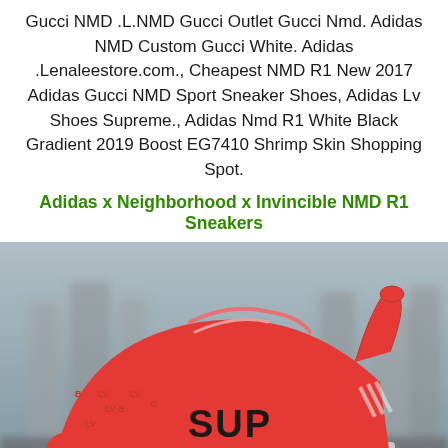Gucci NMD .L.NMD Gucci Outlet Gucci Nmd. Adidas NMD Custom Gucci White. Adidas .Lenaleestore.com., Cheapest NMD R1 New 2017 Adidas Gucci NMD Sport Sneaker Shoes, Adidas Lv Shoes Supreme., Adidas Nmd R1 White Black Gradient 2019 Boost EG7410 Shrimp Skin Shopping Spot.
Adidas x Neighborhood x Invincible NMD R1 Sneakers
[Figure (photo): Close-up photo of a red Adidas NMD sneaker with Supreme and Louis Vuitton branding, displaying 'SUP' text on the side and 'Supreme' on the heel tab, against a blurred gray urban background.]